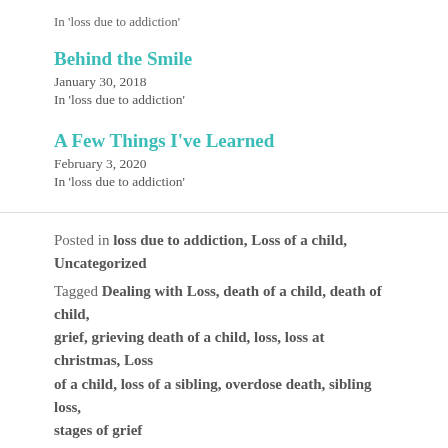In 'loss due to addiction'
Behind the Smile
January 30, 2018
In 'loss due to addiction'
A Few Things I've Learned
February 3, 2020
In 'loss due to addiction'
Posted in loss due to addiction, Loss of a child, Uncategorized
Tagged Dealing with Loss, death of a child, death of child, grief, grieving death of a child, loss, loss at christmas, Loss of a child, loss of a sibling, overdose death, sibling loss, stages of grief
15 Comments